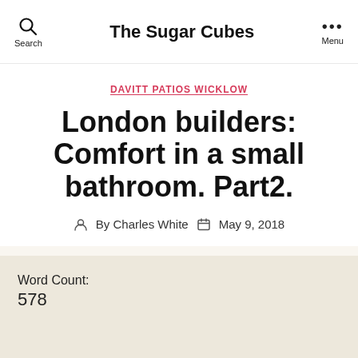The Sugar Cubes
DAVITT PATIOS WICKLOW
London builders: Comfort in a small bathroom. Part2.
By Charles White  May 9, 2018
Word Count:
578